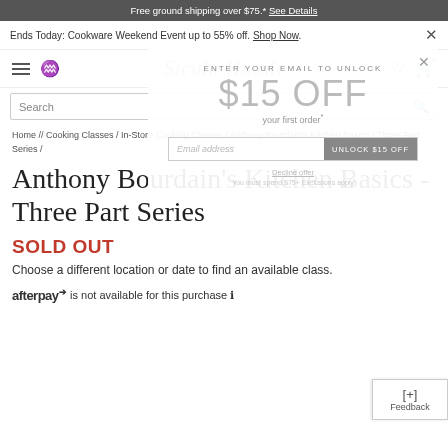Free ground shipping over $75.* See Details
Ends Today: Cookware Weekend Event up to 55% off. Shop Now.
[Figure (logo): Sicula Hassle script logo in gray italic]
Search
Home // Cooking Classes / In-Store Cooking Classes / Anthony Bourdain's Kitchen Basics - Three Part Series /
Anthony Bourdain's Kitchen Basics - Three Part Series
SOLD OUT
Choose a different location or date to find an available class.
afterpay is not available for this purchase ℹ
ENTER YOUR EMAIL TO UNLOCK
$15 OFF
your first order*
Email address
UNLOCK $15 OFF
Decline offer
You must spend $75+ Exclusions apply